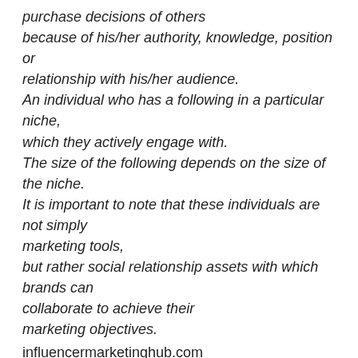purchase decisions of others because of his/her authority, knowledge, position or relationship with his/her audience. An individual who has a following in a particular niche, which they actively engage with. The size of the following depends on the size of the niche. It is important to note that these individuals are not simply marketing tools, but rather social relationship assets with which brands can collaborate to achieve their marketing objectives. influencermarketinghub.com
Think social media and those who are constantly in some sort of limelight on FB, blogging, tweeting or news thread.